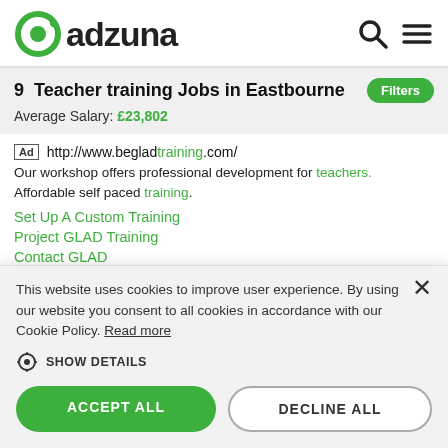adzuna
9  Teacher training Jobs in Eastbourne
Average Salary: £23,802
Ad http://www.begladtraining.com/
Our workshop offers professional development for teachers. Affordable self paced training.
Set Up A Custom Training
Project GLAD Training
Contact GLAD
This website uses cookies to improve user experience. By using our website you consent to all cookies in accordance with our Cookie Policy. Read more
SHOW DETAILS
ACCEPT ALL
DECLINE ALL